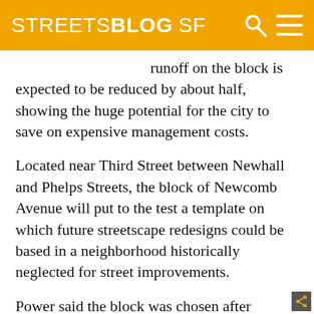STREETSBLOG SF
runoff on the block is expected to be reduced by about half, showing the huge potential for the city to save on expensive management costs.
Located near Third Street between Newhall and Phelps Streets, the block of Newcomb Avenue will put to the test a template on which future streetscape redesigns could be based in a neighborhood historically neglected for street improvements.
Power said the block was chosen after neighbors organized in response to the SF Redevelopment Agency's Model Block Project request for proposals, which sought to invest in existing Bayview